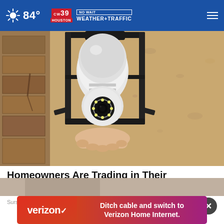84° | CW39 NO WAIT WEATHER+TRAFFIC
[Figure (photo): A person's hand installing a light bulb security camera into an outdoor wall lantern fixture. The camera is white with a circular lens and LED ring, mounted in a black metal cage lantern against a textured stucco wall.]
Homeowners Are Trading in Their Doorbell Cams for This.
Sursell
[Figure (photo): Bottom edge of another photo partially visible]
Ditch cable and switch to Verizon Home Internet.